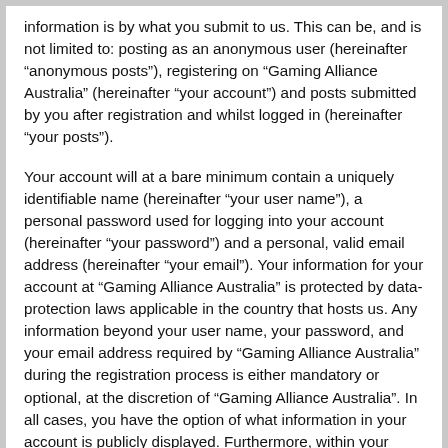information is by what you submit to us. This can be, and is not limited to: posting as an anonymous user (hereinafter “anonymous posts”), registering on “Gaming Alliance Australia” (hereinafter “your account”) and posts submitted by you after registration and whilst logged in (hereinafter “your posts”).
Your account will at a bare minimum contain a uniquely identifiable name (hereinafter “your user name”), a personal password used for logging into your account (hereinafter “your password”) and a personal, valid email address (hereinafter “your email”). Your information for your account at “Gaming Alliance Australia” is protected by data-protection laws applicable in the country that hosts us. Any information beyond your user name, your password, and your email address required by “Gaming Alliance Australia” during the registration process is either mandatory or optional, at the discretion of “Gaming Alliance Australia”. In all cases, you have the option of what information in your account is publicly displayed. Furthermore, within your account, you have the option to